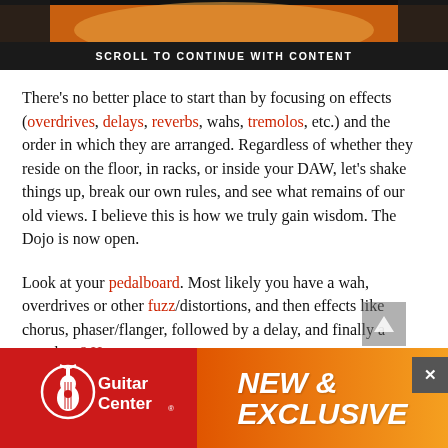[Figure (photo): Top image strip showing a warm orange/amber guitar or light reflection background with dark border]
SCROLL TO CONTINUE WITH CONTENT
There's no better place to start than by focusing on effects (overdrives, delays, reverbs, wahs, tremolos, etc.) and the order in which they are arranged. Regardless of whether they reside on the floor, in racks, or inside your DAW, let's shake things up, break our own rules, and see what remains of our old views. I believe this is how we truly gain wisdom. The Dojo is now open.
Look at your pedalboard. Most likely you have a wah, overdrives or other fuzz/distortions, and then effects like chorus, phaser/flanger, followed by a delay, and finally a reverb...6 Hx ($649...these categories...to rearrange the signal now without the hassle of unplugging
[Figure (advertisement): Guitar Center advertisement banner. Left side red background with Guitar Center logo (guitar icon and text). Right side orange gradient with text NEW & EXCLUSIVE in white bold italic.]